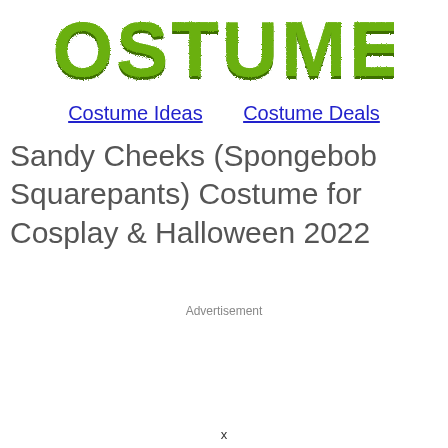[Figure (logo): COSTUMET logo in green horror/drip style font]
Costume Ideas    Costume Deals
Sandy Cheeks (Spongebob Squarepants) Costume for Cosplay & Halloween 2022
Advertisement